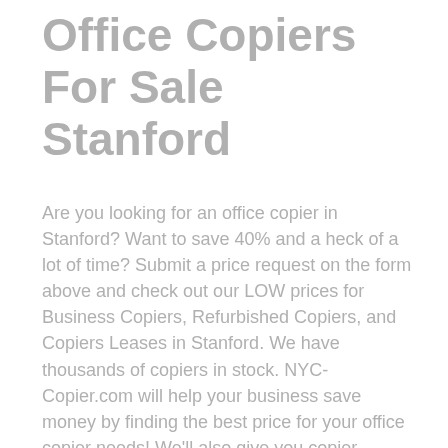Office Copiers For Sale Stanford
Are you looking for an office copier in Stanford? Want to save 40% and a heck of a lot of time? Submit a price request on the form above and check out our LOW prices for Business Copiers, Refurbished Copiers, and Copiers Leases in Stanford. We have thousands of copiers in stock. NYC-Copier.com will help your business save money by finding the best price for your office copier needs! We'll also give you copier service contract quotes, options to buy and lease a business copier, and more! We have discounted all the best rated copier brands like HP, Canon, Ricoh, Xerox, and many more! We have 40% discounts